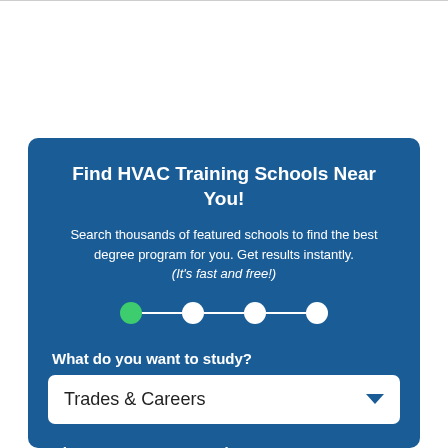← Older posts
Find HVAC Training Schools Near You!
Search thousands of featured schools to find the best degree program for you. Get results instantly. (It's fast and free!)
[Figure (infographic): A step progress indicator with 4 dots connected by lines. The first dot is filled green (active), the remaining three are white.]
What do you want to study?
Trades & Careers
Choose your concentration
HVAC